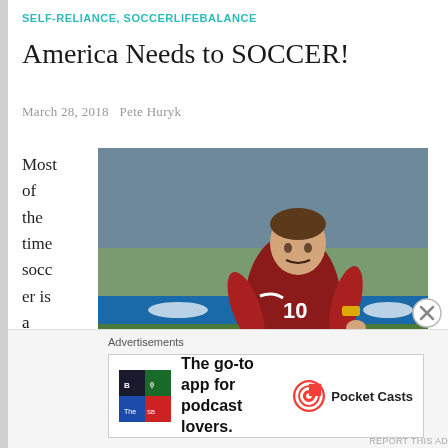SELF-RELIANCE, SOCCERLIFEBALANCE
America Needs to SOCCER!
March 28, 2018   Pete Huryk
[Figure (photo): Soccer player wearing red number 10 jersey dribbling a ball on a field]
Most of the time soccer is a noun but today I'm going to use it as a verb.  Of course when you are creating a new word, it's important to define it.  Here is
[Figure (infographic): Advertisement banner: The go-to app for podcast lovers. Pocket Casts]